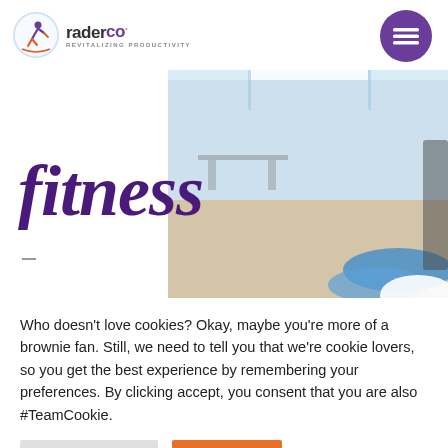raderco. REVITALIZING PRODUCTIVITY
EXPLORE →
[Figure (photo): Interior gym/fitness room photo showing blue yoga mats, bright windows, and modern space]
fitness
Who doesn't love cookies? Okay, maybe you're more of a brownie fan. Still, we need to tell you that we're cookie lovers, so you get the best experience by remembering your preferences. By clicking accept, you consent that you are also #TeamCookie.
Cookie Settings
Accept All